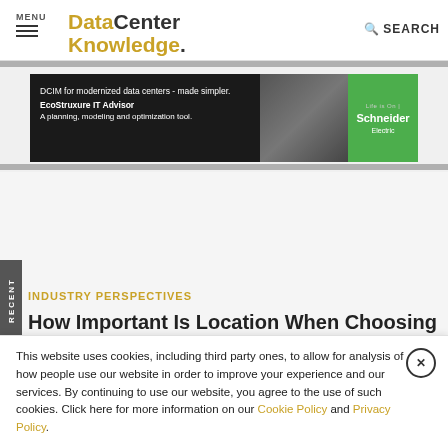MENU | Data Center Knowledge | SEARCH
[Figure (screenshot): Advertisement banner for Schneider Electric EcoStruxure IT Advisor: 'DCIM for modernized data centers - made simpler. EcoStruxure IT Advisor. A planning, modeling and optimization tool.' with Schneider Electric branding on green background.]
INDUSTRY PERSPECTIVES
How Important Is Location When Choosing
This website uses cookies, including third party ones, to allow for analysis of how people use our website in order to improve your experience and our services. By continuing to use our website, you agree to the use of such cookies. Click here for more information on our Cookie Policy and Privacy Policy.